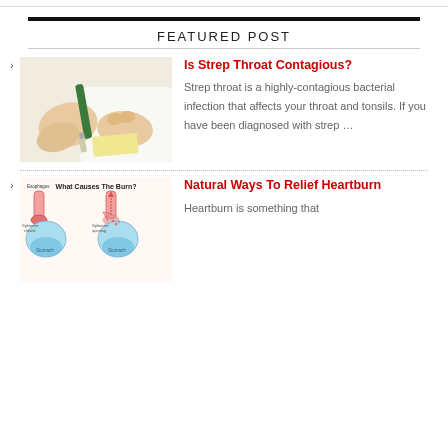FEATURED POST
[Figure (photo): Hands holding a medical swab/pen for a throat test]
Is Strep Throat Contagious?
Strep throat is a highly-contagious bacterial infection that affects your throat and tonsils. If you have been diagnosed with strep …
[Figure (illustration): Diagram titled 'What Causes The Burn?' showing esophagus and stomach anatomy illustrating heartburn]
Natural Ways To Relief Heartburn
Heartburn is something that